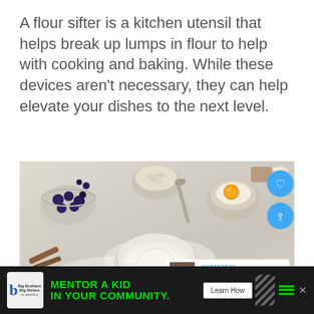A flour sifter is a kitchen utensil that helps break up lumps in flour to help with cooking and baking. While these devices aren't necessary, they can help elevate your dishes to the next level.
[Figure (photo): Overhead photo of baking ingredients on a marble surface including a bowl of blueberries, oats, an egg cracked into a bowl, a flour-filled bowl, strawberries, cinnamon sticks, and hands sifting flour. UI overlays include a heart button, share button, and a 'What's Next' card showing 'Can You Reboil Eggs...'.]
WHAT'S NEXT → Can You Reboil Eggs...
Big Brothers Big Sisters MENTOR A KID IN YOUR COMMUNITY. Learn How